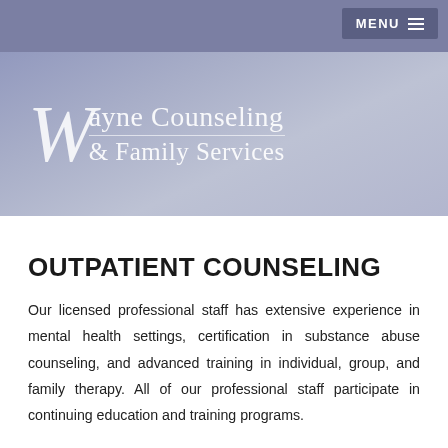MENU
[Figure (logo): Wayne Counseling & Family Services logo with large decorative W and serif text on purple-gray gradient background]
OUTPATIENT COUNSELING
Our licensed professional staff has extensive experience in mental health settings, certification in substance abuse counseling, and advanced training in individual, group, and family therapy. All of our professional staff participate in continuing education and training programs.